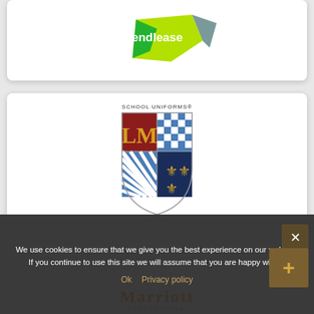[Figure (logo): Lendlease logo — geometric green and grey angular shapes with 'lendlease' text in green on a lime-green polygon]
[Figure (logo): LM School Uniforms logo — heraldic shield divided into four quarters: top-left dark red with gold LM letters, top-right blue and white checkerboard, bottom-left blue and white diagonal stripes, bottom-right navy with three gold fleur-de-lis; text 'SCHOOL UNIFORMS®' above]
We use cookies to ensure that we give you the best experience on our website. If you continue to use this site we will assume that you are happy with it.
Ok   Privacy policy